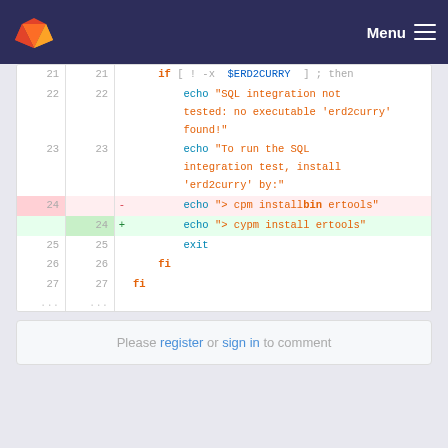GitLab navigation bar with Menu button
[Figure (screenshot): GitLab code diff view showing lines 21-27 of a shell script with a diff replacing 'cpm installbin ertools' with 'cypm install ertools']
Please register or sign in to comment